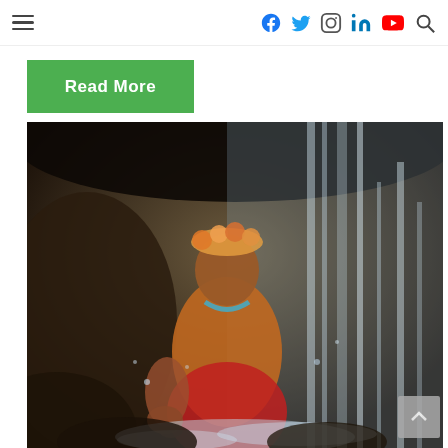Navigation bar with hamburger menu and social icons (Facebook, Twitter, Instagram, LinkedIn, YouTube, Search)
Read More
[Figure (photo): A man with a flower crown sitting cross-legged in a meditation pose in front of a waterfall, wearing red pants and a blue necklace, with water splashing around him.]